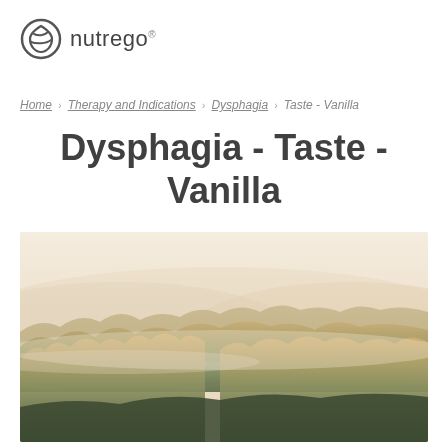nutrego®
Home › Therapy and Indications › Dysphagia › Taste - Vanilla
Dysphagia - Taste - Vanilla
[Figure (photo): Aerial misty autumn forest landscape with golden and green trees stretching across rolling hills under a hazy pale sky]